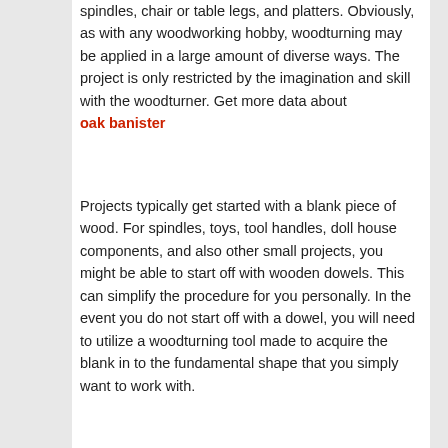spindles, chair or table legs, and platters. Obviously, as with any woodworking hobby, woodturning may be applied in a large amount of diverse ways. The project is only restricted by the imagination and skill with the woodturner. Get more data about oak banister
Projects typically get started with a blank piece of wood. For spindles, toys, tool handles, doll house components, and also other small projects, you might be able to start off with wooden dowels. This can simplify the procedure for you personally. In the event you do not start off with a dowel, you will need to utilize a woodturning tool made to acquire the blank in to the fundamental shape that you simply want to work with.
Most projects commence having a roughing gouge to round the wood blank into a spindle. The spindle is often smoothed utilizing the razor sharp edge with the skew chisel. Nonetheless, if you are making a bowl, that is probably the most well-known woodturning project, you'll need a particular bowl gouge that is certainly developed to turn the inside and outside with the bowl.